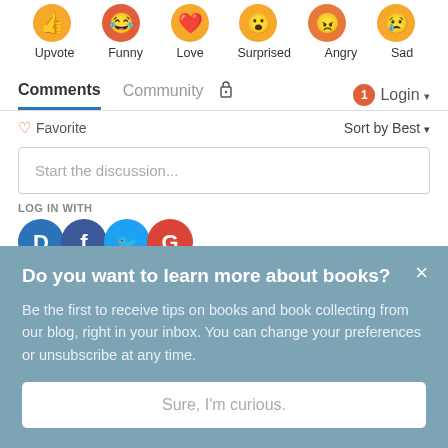[Figure (illustration): Row of emoji reaction icons partially visible at top: Upvote (orange), Funny (red-orange), Love (orange), Surprised (orange), Angry (orange), Sad (orange)]
Upvote   Funny   Love   Surprised   Angry   Sad
Comments   Community   🔒   1   Login ▾
♡ Favorite
Sort by Best ▾
Start the discussion...
LOG IN WITH
[Figure (illustration): Social login icons: Disqus (blue D), Facebook (dark blue f), Twitter (light blue bird), Google (red G)]
Do you want to learn more about books?
Be the first to receive tips on books and book collecting from our blog, right in your inbox. You can change your preferences or unsubscribe at any time.
Sure, I'm curious.